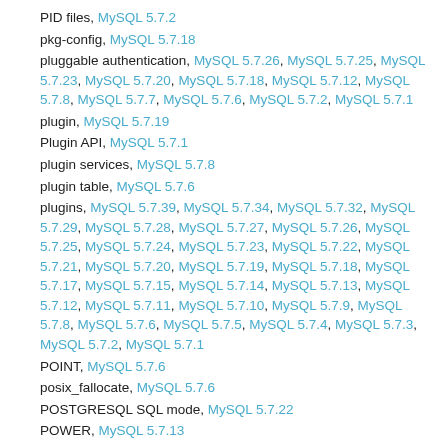PID files, MySQL 5.7.2
pkg-config, MySQL 5.7.18
pluggable authentication, MySQL 5.7.26, MySQL 5.7.25, MySQL 5.7.23, MySQL 5.7.20, MySQL 5.7.18, MySQL 5.7.12, MySQL 5.7.8, MySQL 5.7.7, MySQL 5.7.6, MySQL 5.7.2, MySQL 5.7.1
plugin, MySQL 5.7.19
Plugin API, MySQL 5.7.1
plugin services, MySQL 5.7.8
plugin table, MySQL 5.7.6
plugins, MySQL 5.7.39, MySQL 5.7.34, MySQL 5.7.32, MySQL 5.7.29, MySQL 5.7.28, MySQL 5.7.27, MySQL 5.7.26, MySQL 5.7.25, MySQL 5.7.24, MySQL 5.7.23, MySQL 5.7.22, MySQL 5.7.21, MySQL 5.7.20, MySQL 5.7.19, MySQL 5.7.18, MySQL 5.7.17, MySQL 5.7.15, MySQL 5.7.14, MySQL 5.7.13, MySQL 5.7.12, MySQL 5.7.11, MySQL 5.7.10, MySQL 5.7.9, MySQL 5.7.8, MySQL 5.7.6, MySQL 5.7.5, MySQL 5.7.4, MySQL 5.7.3, MySQL 5.7.2, MySQL 5.7.1
POINT, MySQL 5.7.6
posix_fallocate, MySQL 5.7.6
POSTGRESQL SQL mode, MySQL 5.7.22
POWER, MySQL 5.7.13
PowerPC, MySQL 5.7.5